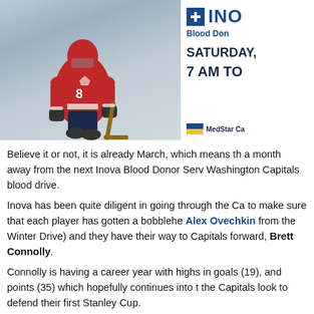[Figure (photo): Composite image: left side shows a Washington Capitals hockey player in red jersey holding a stick, styled as a bobblehead figure against a wintry blue-gray background. Right side has white background with Inova Blood Donor Services logo and text reading 'SATURDAY, 7 AM TO' and MedStar logo at bottom.]
Believe it or not, it is already March, which means th a month away from the next Inova Blood Donor Serv Washington Capitals blood drive.
Inova has been quite diligent in going through the Ca to make sure that each player has gotten a bobblehe Alex Ovechkin from the Winter Drive) and they have their way to Capitals forward, Brett Connolly.
Connolly is having a career year with highs in goals (19), and points (35) which hopefully continues into t the Capitals look to defend their first Stanley Cup.